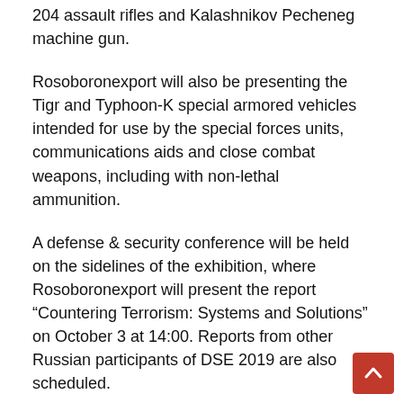204 assault rifles and Kalashnikov Pecheneg machine gun.
Rosoboronexport will also be presenting the Tigr and Typhoon-K special armored vehicles intended for use by the special forces units, communications aids and close combat weapons, including with non-lethal ammunition.
A defense & security conference will be held on the sidelines of the exhibition, where Rosoboronexport will present the report “Countering Terrorism: Systems and Solutions” on October 3 at 14:00. Reports from other Russian participants of DSE 2019 are also scheduled.
In addition, Rosoboronexport expects that foreign delegations will show great interest in Russian-made weapons and military equipment for all services of the armed forces. The Company and manufacturers’ specialists are ready to hold